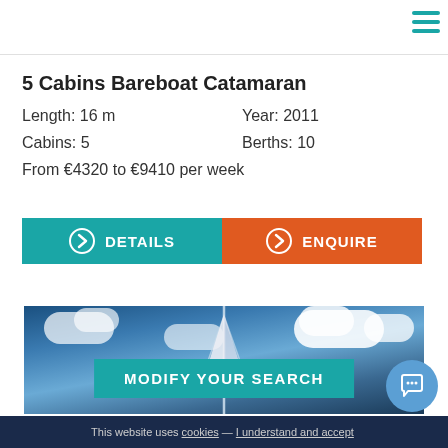5 Cabins Bareboat Catamaran
Length: 16 m
Year: 2011
Cabins: 5
Berths: 10
From €4320 to €9410 per week
DETAILS
ENQUIRE
[Figure (photo): Catamaran mast against blue sky with clouds — background for MODIFY YOUR SEARCH section]
MODIFY YOUR SEARCH
This website uses cookies — I understand and accept